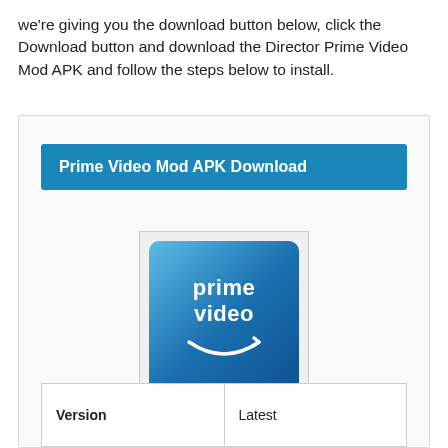we're giving you the download button below, click the Download button and download the Director Prime Video Mod APK and follow the steps below to install.
[Figure (other): Download card with a blue button labeled 'Prime Video Mod APK Download' and the Amazon Prime Video app logo (blue gradient square with 'prime video' text and smile arrow), followed by a table row showing Version and Latest.]
| Version | Latest |
| --- | --- |